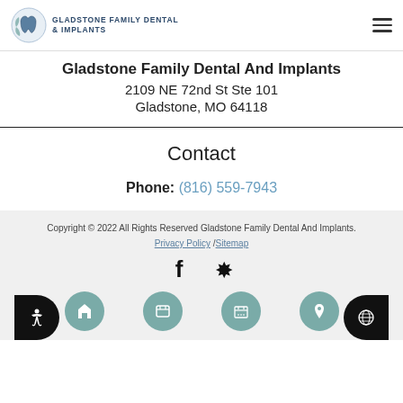Gladstone Family Dental & Implants
Gladstone Family Dental And Implants
2109 NE 72nd St Ste 101
Gladstone, MO 64118
Contact
Phone: (816) 559-7943
Copyright © 2022 All Rights Reserved Gladstone Family Dental And Implants.
Privacy Policy /Sitemap